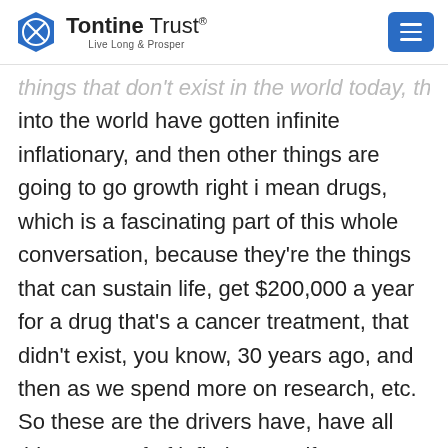Tontine Trust® — Live Long & Prosper
things that don't exist in the world today, they pay into the world have gotten infinite inflationary, and then other things are going to go growth right i mean drugs, which is a fascinating part of this whole conversation, because they're the things that can sustain life, get $200,000 a year for a drug that's a cancer treatment, that didn't exist, you know, 30 years ago, and then as we spend more on research, etc. So these are the drivers have, have all this aspect of of inflation. So, if we were to not consider the aspect of invention creativity and the cost of developing new things